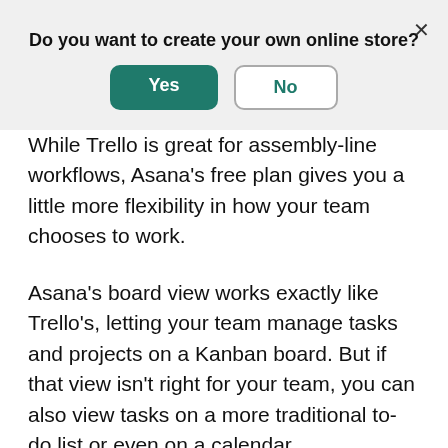Do you want to create your own online store?
[Figure (screenshot): Modal dialog with Yes (green filled button) and No (white outlined button) options, and an X close button in top right]
While Trello is great for assembly-line workflows, Asana's free plan gives you a little more flexibility in how your team chooses to work.
Asana's board view works exactly like Trello's, letting your team manage tasks and projects on a Kanban board. But if that view isn't right for your team, you can also view tasks on a more traditional to-do list or even on a calendar.
Another advantage of Asana is that you can